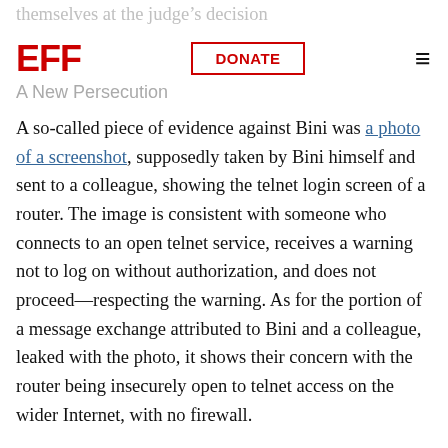themselves at the judge's decision
EFF | DONATE | menu
A New Persecution
A so-called piece of evidence against Bini was a photo of a screenshot, supposedly taken by Bini himself and sent to a colleague, showing the telnet login screen of a router. The image is consistent with someone who connects to an open telnet service, receives a warning not to log on without authorization, and does not proceed—respecting the warning. As for the portion of a message exchange attributed to Bini and a colleague, leaked with the photo, it shows their concern with the router being insecurely open to telnet access on the wider Internet, with no firewall.
Between the trial hearing in January and its resumption in May, Ecuador's Prosecutor's Office